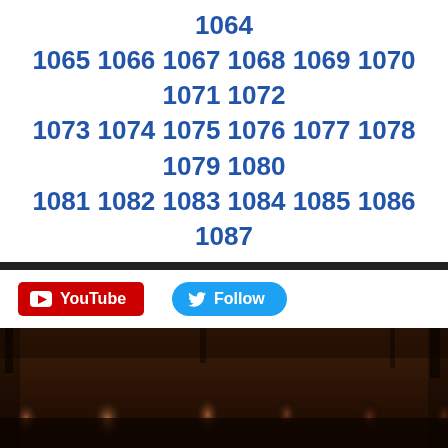1044 1045 1046 1047 1048 1049 1050 1051 1052 1053 1054 1055 1056 1057 1058 1059 1060 1061 1062 1063 1064 1065 1066 1067 1068 1069 1070 1071 1072 1073 1074 1075 1076 1077 1078 1079 1080 1081 1082 1083 1084 1085 1086 1087 1088 1089 1090 1091 1092 1093 1094 1095 1096 1097 1098 1099 1100 1101 1102 1103 1104 1105 ...
[Figure (screenshot): YouTube button (red) and Twitter Follow button (blue)]
[Figure (photo): Group photo of Twilight Saga cast members against a dark forest background with warm amber/brown tones]